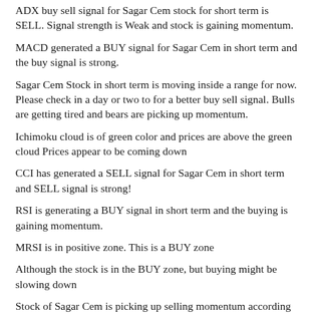ADX buy sell signal for Sagar Cem stock for short term is SELL. Signal strength is Weak and stock is gaining momentum.
MACD generated a BUY signal for Sagar Cem in short term and the buy signal is strong.
Sagar Cem Stock in short term is moving inside a range for now. Please check in a day or two to for a better buy sell signal. Bulls are getting tired and bears are picking up momentum.
Ichimoku cloud is of green color and prices are above the green cloud Prices appear to be coming down
CCI has generated a SELL signal for Sagar Cem in short term and SELL signal is strong!
RSI is generating a BUY signal in short term and the buying is gaining momentum.
MRSI is in positive zone. This is a BUY zone
Although the stock is in the BUY zone, but buying might be slowing down
Stock of Sagar Cem is picking up selling momentum according to indicator.